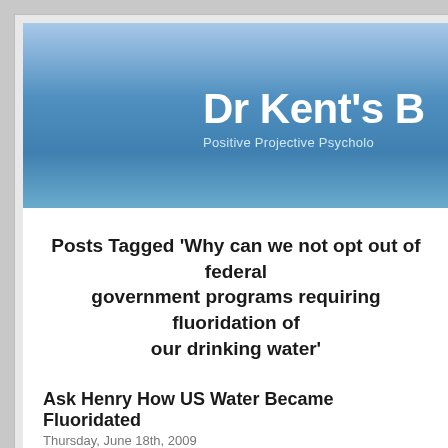[Figure (screenshot): Website header banner with blue gradient background showing 'Dr Kent's B' (truncated) as site title and 'Positive Projective Psycholo...' as subtitle]
Posts Tagged ‘Why can we not opt out of federal government programs requiring fluoridation of our drinking water’
Ask Henry How US Water Became Fluoridated
Thursday, June 18th, 2009
I am not kidding: